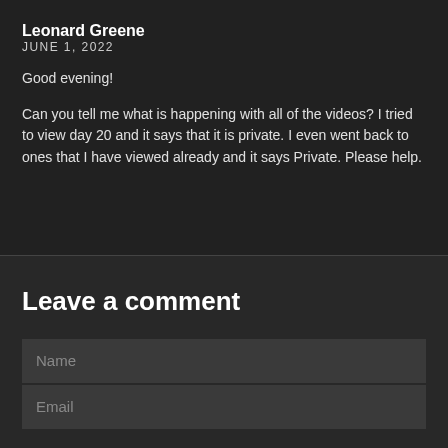Leonard Greene
JUNE 1, 2022
Good evening!
Can you tell me what is happening with all of the videos? I tried to view day 20 and it says that it is private. I even went back to ones that I have viewed already and it says Private. Please help.
Leave a comment
Name
Email